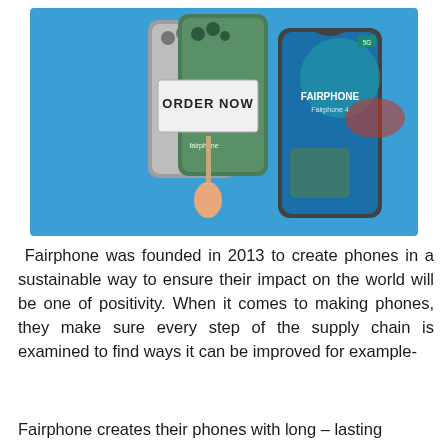[Figure (illustration): Advertisement illustration for Fairphone 4. Blue background with two smartphones shown from the back (green and grey) and one from the front displaying the Fairphone 4 screen. A cartoon hand holds up a sign reading 'ORDER NOW'.]
Fairphone was founded in 2013 to create phones in a sustainable way to ensure their impact on the world will be one of positivity. When it comes to making phones, they make sure every step of the supply chain is examined to find ways it can be improved for example-
Fairphone creates their phones with long – lasting